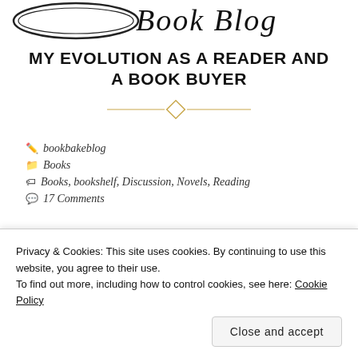[Figure (logo): Partial blog logo/header with cursive script text, partially cropped at top of page]
MY EVOLUTION AS A READER AND A BOOK BUYER
[Figure (illustration): Decorative gold diamond/rhombus divider with horizontal lines on either side]
bookbakeblog
Books
Books, bookshelf, Discussion, Novels, Reading
17 Comments
A few weeks ago, I bought a Kindle Paperwhite, and it got
Privacy & Cookies: This site uses cookies. By continuing to use this website, you agree to their use.
To find out more, including how to control cookies, see here: Cookie Policy